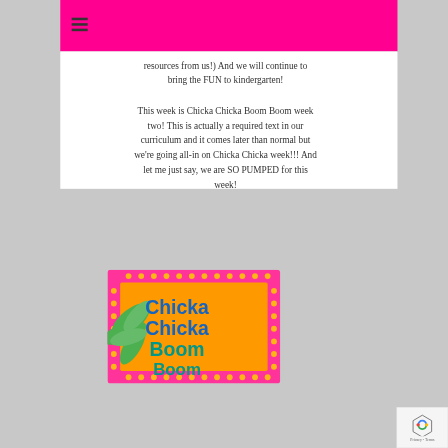resources from us!) And we will continue to bring the FUN to kindergarten!
This week is Chicka Chicka Boom Boom week two! This is actually a required text in our curriculum and it comes later than normal but we're going all-in on Chicka Chicka week!!! And let me just say, we are SO PUMPED for this week!
[Figure (photo): Book cover of 'Chicka Chicka Boom Boom' showing colorful pink border with orange dots, green palm tree leaves, and large blue/teal text on orange background reading 'Chicka Chicka Boom Boom']